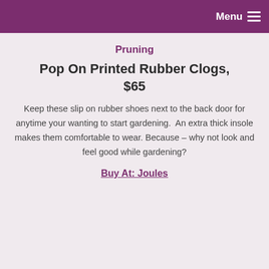Menu
Pruning
Pop On Printed Rubber Clogs, $65
Keep these slip on rubber shoes next to the back door for anytime your wanting to start gardening.  An extra thick insole makes them comfortable to wear. Because – why not look and feel good while gardening?
Buy At: Joules